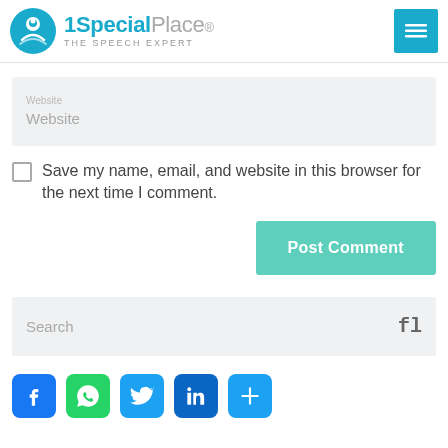[Figure (logo): 1SpecialPlace - The Speech Expert logo with teal circle icon and teal/grey wordmark]
[Figure (screenshot): Website input field placeholder]
Save my name, email, and website in this browser for the next time I comment.
Post Comment
[Figure (screenshot): Search input field with search icon]
[Figure (infographic): Social sharing icons: Facebook, WhatsApp, Twitter, LinkedIn, Share]